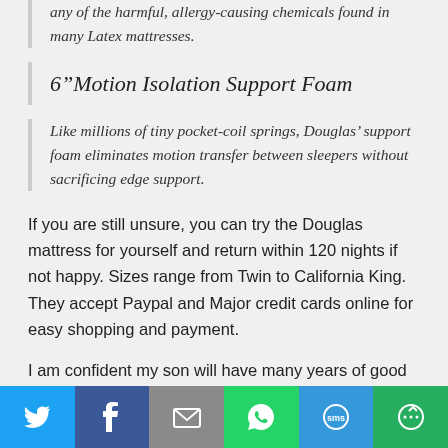any of the harmful, allergy-causing chemicals found in many Latex mattresses.
6" Motion Isolation Support Foam
Like millions of tiny pocket-coil springs, Douglas' support foam eliminates motion transfer between sleepers without sacrificing edge support.
If you are still unsure, you can try the Douglas mattress for yourself and return within 120 nights if not happy. Sizes range from Twin to California King. They accept Paypal and Major credit cards online for easy shopping and payment.
I am confident my son will have many years of good
[Figure (infographic): Social media sharing bar with Twitter, Facebook, Email, WhatsApp, SMS, and More buttons]